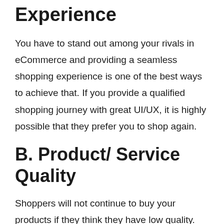Experience
You have to stand out among your rivals in eCommerce and providing a seamless shopping experience is one of the best ways to achieve that. If you provide a qualified shopping journey with great UI/UX, it is highly possible that they prefer you to shop again.
B. Product/ Service Quality
Shoppers will not continue to buy your products if they think they have low quality. So it is significant